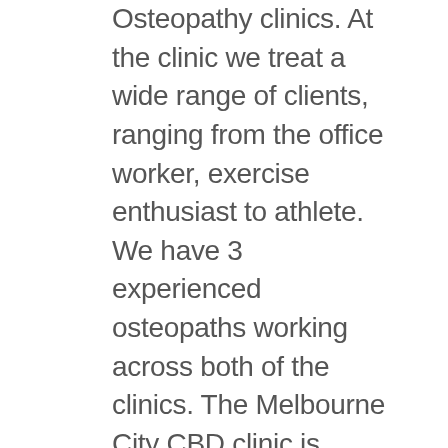Osteopathy clinics. At the clinic we treat a wide range of clients, ranging from the office worker, exercise enthusiast to athlete. We have 3 experienced osteopaths working across both of the clinics. The Melbourne City CBD clinic is located at 29 Somerset Place (basement), close to the corner of Elizabeth St and Little Bourke in the Melbourne City CBD. Our premises adjoin the Jon Weller Personal Training Studio, a fully-equipped training space which allows clients to combine their osteopathy treatment with exercise tutorials or specific training programs and rehabilitation. The Docklands clinic is located at 717 Bourke St (Ground Floor), beneath the Channel 9 building near the walkway from Southern Cross Train Station to Etihad Stadium. Our premises adjoin Pilates on Bourke, a fully-equipped pilates and yoga training space which allows clients to combine their osteopathy treatment with exercise tutorials, pilates or specific training programs and rehabilitation. To speak to an Osteopath or book an appointment at Principle Four Osteopathy, please book online or call